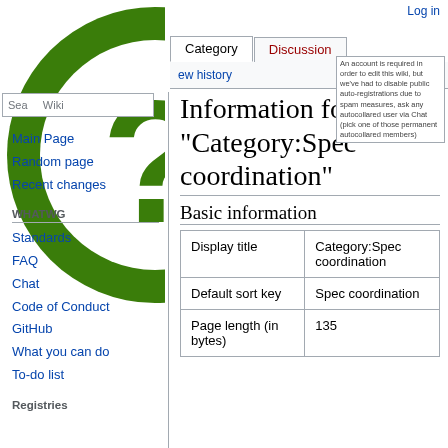Log in
[Figure (logo): WHATWG wiki green question mark logo]
Category  Discussion
ew history
Search wiki
Information for "Category:Spec coordination"
Basic information
|  |  |
| --- | --- |
| Display title | Category:Spec coordination |
| Default sort key | Spec coordination |
| Page length (in bytes) | 135 |
Main Page
Random page
Recent changes
WHATWG
Standards
FAQ
Chat
Code of Conduct
GitHub
What you can do
To-do list
Registries